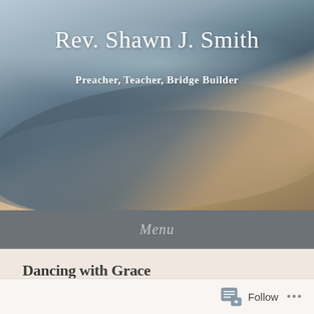[Figure (photo): Aerial or close-up photograph of ocean waves meeting a sandy beach, with soft muted tones of blue-grey water and warm sandy tones, forming a curved wave shape across the image.]
Rev. Shawn J. Smith
Preacher, Teacher, Bridge Builder
Menu
Dancing with Grace
Posted on July 16, 2014 by Rev. Shawn J. Smith
Follow ...